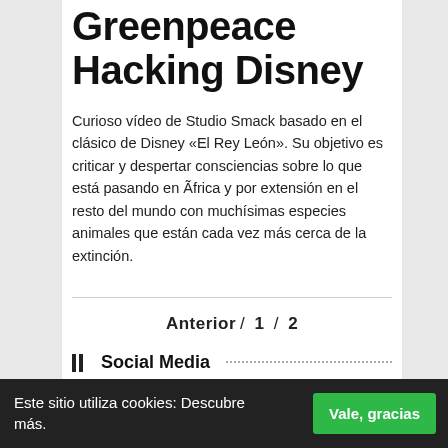Greenpeace Hacking Disney
Curioso vídeo de Studio Smack basado en el clásico de Disney «El Rey León». Su objetivo es criticar y despertar consciencias sobre lo que está pasando en África y por extensión en el resto del mundo con muchísimas especies animales que están cada vez más cerca de la extinción.
Anterior / 1 / 2
Social Media
Este sitio utiliza cookies: Descubre más.